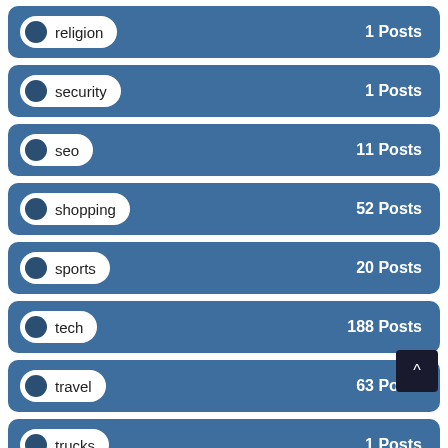religion — 1 Posts
security — 1 Posts
seo — 11 Posts
shopping — 52 Posts
sports — 20 Posts
tech — 188 Posts
travel — 63 Posts
trucks — 1 Posts